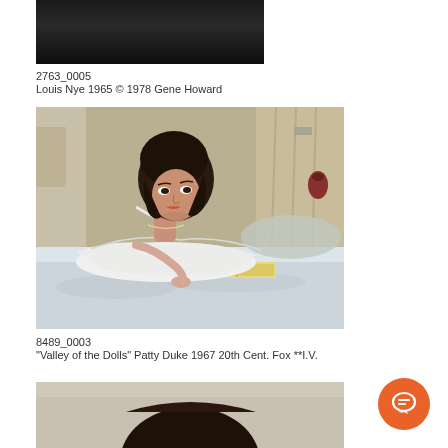[Figure (photo): Partial dark photo of Louis Nye, cropped at top of page]
2763_0005
Louis Nye 1965 © 1978 Gene Howard
[Figure (photo): Color photo of Patty Duke lying on a bed in a white dress, from Valley of the Dolls 1967]
8489_0003
"Valley of the Dolls" Patty Duke 1967 20th Cent. Fox **I.V.
[Figure (photo): Partial photo showing top of a person's head, cropped at bottom of page]